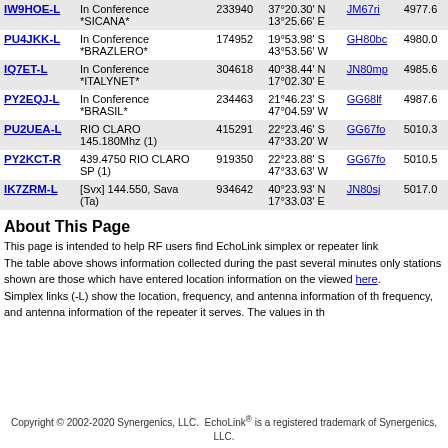| Callsign | Description | Node | Location | Grid | Distance |
| --- | --- | --- | --- | --- | --- |
| IW9HOE-L | In Conference *SICANA* | 233940 | 37°20.30' N 13°25.66' E | JM67ri | 4977.6 |
| PU4JKK-L | In Conference *BRAZLERO* | 174952 | 19°53.98' S 43°53.56' W | GH80bc | 4980.0 |
| IQ7ET-L | In Conference *ITALYNET* | 304618 | 40°38.44' N 17°02.30' E | JN80mp | 4985.6 |
| PY2EQJ-L | In Conference *BRASIL* | 234463 | 21°46.23' S 47°04.59' W | GG68lf | 4987.6 |
| PU2UEA-L | RIO CLARO 145.180Mhz (1) | 415291 | 22°23.46' S 47°33.20' W | GG67fo | 5010.3 |
| PY2KCT-R | 439.4750 RIO CLARO SP (1) | 919350 | 22°23.88' S 47°33.63' W | GG67fo | 5010.5 |
| IK7ZRM-L | [Svx] 144.550, Sava (Ta) | 934642 | 40°23.93' N 17°33.03' E | JN80sj | 5017.0 |
About This Page
This page is intended to help RF users find EchoLink simplex or repeater link
The table above shows information collected during the past several minutes only stations shown are those which have entered location information on the viewed here.
Simplex links (-L) show the location, frequency, and antenna information of the frequency, and antenna information of the repeater it serves. The values in th
Copyright © 2002-2020 Synergenics, LLC. EchoLink® is a registered trademark of Synergenics, LLC.